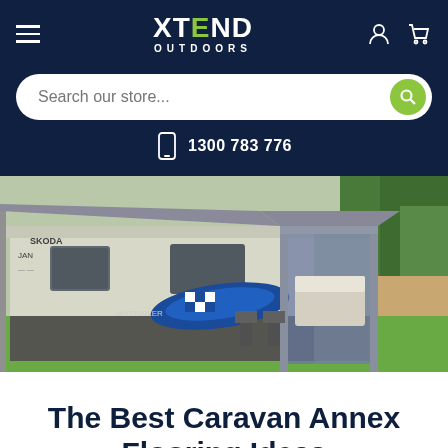XTEND OUTDOORS — navigation header with hamburger menu, logo, user icon, and cart icon
Search our store...
1300 783 776
[Figure (photo): A caravan with an annex/awning set up outdoors on green grass. The caravan has a checkered surf-style graphic on its side. Camping chairs are placed under the annex, and a bed is visible inside the attached room annex. Trees and fencing are visible in the background.]
The Best Caravan Annex Flooring Ideas